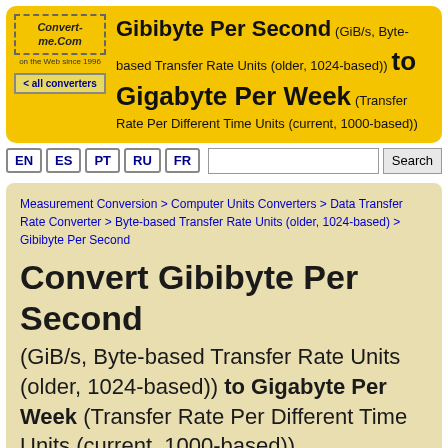Convert-me.Com on the Web since 1996 | < all converters | Gibibyte Per Second (GiB/s, Byte-based Transfer Rate Units (older, 1024-based)) to Gigabyte Per Week (Transfer Rate Per Different Time Units (current, 1000-based))
EN ES PT RU FR Search
Measurement Conversion > Computer Units Converters > Data Transfer Rate Converter > Byte-based Transfer Rate Units (older, 1024-based) > Gibibyte Per Second
Convert Gibibyte Per Second
(GiB/s, Byte-based Transfer Rate Units (older, 1024-based)) to Gigabyte Per Week (Transfer Rate Per Different Time Units (current, 1000-based))